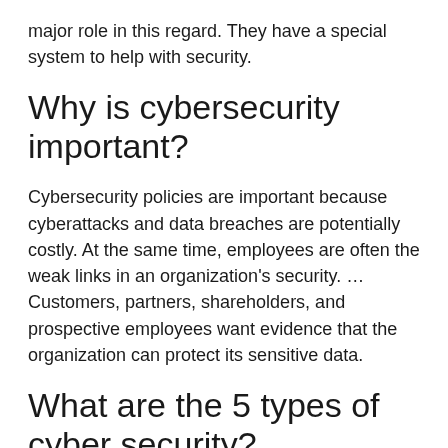major role in this regard. They have a special system to help with security.
Why is cybersecurity important?
Cybersecurity policies are important because cyberattacks and data breaches are potentially costly. At the same time, employees are often the weak links in an organization’s security. … Customers, partners, shareholders, and prospective employees want evidence that the organization can protect its sensitive data.
What are the 5 types of cyber security?